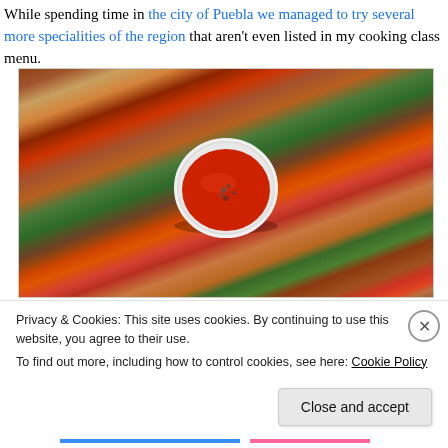While spending time in the city of Puebla we managed to try several more specialities of the region that aren't even listed in my cooking class menu.
[Figure (photo): Overhead close-up photo of fried breaded appetizers (chiles rellenos or similar) arranged on a plate with sliced tomatoes, avocado, and lettuce, with a white ceramic bowl of red salsa in the center sprinkled with dried herbs.]
Privacy & Cookies: This site uses cookies. By continuing to use this website, you agree to their use.
To find out more, including how to control cookies, see here: Cookie Policy